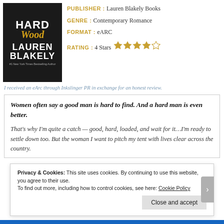[Figure (illustration): Book cover for 'Hard Wood' by Lauren Blakely - dark background with title in white bold text, 'Wood' in gold italic script, author name in large white uppercase letters, and small subtitle '#1 New York Times Bestselling Author']
PUBLISHER : Lauren Blakely Books
GENRE : Contemporary Romance
FORMAT : eARC
RATING : 4 Stars ★★★★☆
I received an eArc through Inkslinger PR in exchange for an honest review.
Women often say a good man is hard to find. And a hard man is even better.
That's why I'm quite a catch — good, hard, loaded, and wait for it…I'm ready to settle down too. But the woman I want to pitch my tent with lives clear across the country.
Privacy & Cookies: This site uses cookies. By continuing to use this website, you agree to their use.
To find out more, including how to control cookies, see here: Cookie Policy
Close and accept